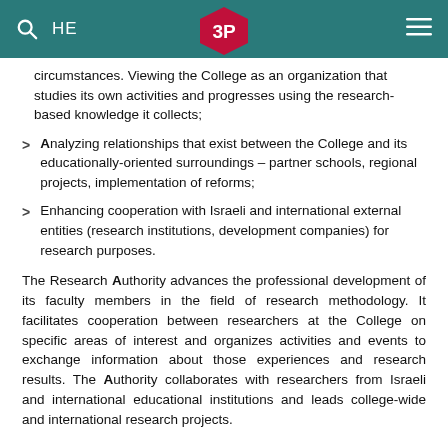HE [logo] [menu]
circumstances. Viewing the College as an organization that studies its own activities and progresses using the research-based knowledge it collects;
Analyzing relationships that exist between the College and its educationally-oriented surroundings – partner schools, regional projects, implementation of reforms;
Enhancing cooperation with Israeli and international external entities (research institutions, development companies) for research purposes.
The Research Authority advances the professional development of its faculty members in the field of research methodology. It facilitates cooperation between researchers at the College on specific areas of interest and organizes activities and events to exchange information about those experiences and research results. The Authority collaborates with researchers from Israeli and international educational institutions and leads college-wide and international research projects.